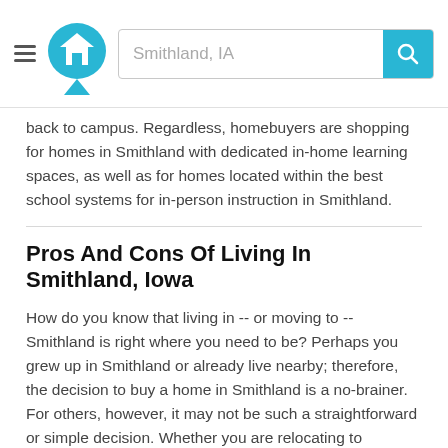Smithland, IA
back to campus. Regardless, homebuyers are shopping for homes in Smithland with dedicated in-home learning spaces, as well as for homes located within the best school systems for in-person instruction in Smithland.
Pros And Cons Of Living In Smithland, Iowa
How do you know that living in -- or moving to -- Smithland is right where you need to be? Perhaps you grew up in Smithland or already live nearby; therefore, the decision to buy a home in Smithland is a no-brainer. For others, however, it may not be such a straightforward or simple decision. Whether you are relocating to Smithland for work or just looking for a fresh start, getting a read on a neighborhood from afar (online) can be tricky… and exhausting.
Here are some questions to ask yourself when shopping for foreclosed homes for sale in Smithland:
What type of neighborhood environment (suburban,